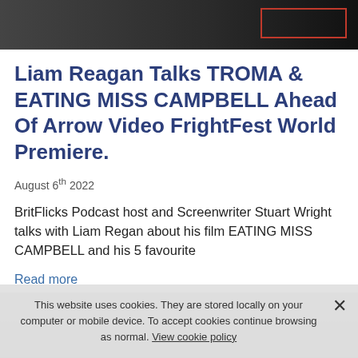[Figure (photo): Partial movie/event photo at the top of the article, dark tones with a red-bordered box overlay in the top right corner]
Liam Reagan Talks TROMA & EATING MISS CAMPBELL Ahead Of Arrow Video FrightFest World Premiere.
August 6th 2022
BritFlicks Podcast host and Screenwriter Stuart Wright talks with Liam Regan about his film EATING MISS CAMPBELL and his 5 favourite
Read more
This website uses cookies. They are stored locally on your computer or mobile device. To accept cookies continue browsing as normal. View cookie policy